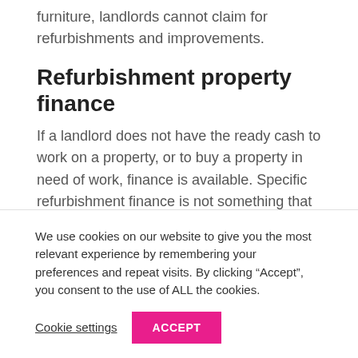furniture, landlords cannot claim for refurbishments and improvements.
Refurbishment property finance
If a landlord does not have the ready cash to work on a property, or to buy a property in need of work, finance is available. Specific refurbishment finance is not something that high street lenders generally provide. Most of them will only offer a mortgage on a property that is already considered habitable. Instead
We use cookies on our website to give you the most relevant experience by remembering your preferences and repeat visits. By clicking “Accept”, you consent to the use of ALL the cookies.
Cookie settings
ACCEPT